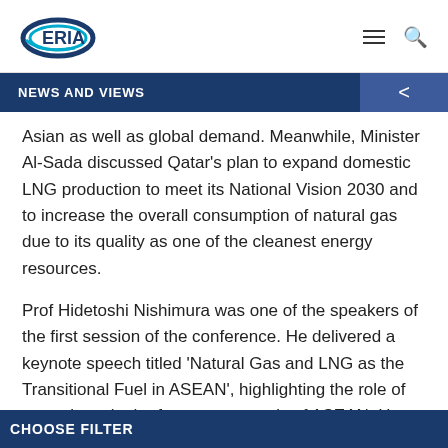ERIA
NEWS AND VIEWS
Asian as well as global demand. Meanwhile, Minister Al-Sada discussed Qatar's plan to expand domestic LNG production to meet its National Vision 2030 and to increase the overall consumption of natural gas due to its quality as one of the cleanest energy resources.
Prof Hidetoshi Nishimura was one of the speakers of the first session of the conference. He delivered a keynote speech titled 'Natural Gas and LNG as the Transitional Fuel in ASEAN', highlighting the role of natural gas in the future energy mix of ASEAN. He pointed
CHOOSE FILTER